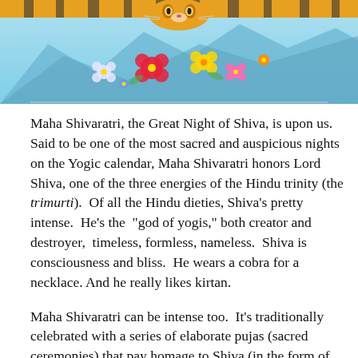[Figure (illustration): Colorful illustration showing a tiger face at the top center with blue mountain/wave background and scattered flowers (red hibiscus, yellow, white, and other colored flowers) across the lower portion of the image.]
Maha Shivaratri, the Great Night of Shiva, is upon us. Said to be one of the most sacred and auspicious nights on the Yogic calendar, Maha Shivaratri honors Lord Shiva, one of the three energies of the Hindu trinity (the trimurti). Of all the Hindu dieties, Shiva’s pretty intense. He’s the “god of yogis,” both creator and destroyer, timeless, formless, nameless. Shiva is consciousness and bliss. He wears a cobra for a necklace. And he really likes kirtan.
Maha Shivaratri can be intense too. It’s traditionally celebrated with a series of elaborate pujas (sacred ceremonies) that pay homage to Shiva (in the form of linga) with offerings of flowers and incense, baths of milk and honey, and non-stop kirtan that goes all night. The ritual culminates in the marriage of Shiva